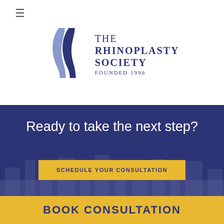[Figure (logo): The Rhinoplasty Society logo: two stylized nose profiles in blue/gray tones with text 'THE RHINOPLASTY SOCIETY FOUNDED 1996']
Ready to take the next step?
SCHEDULE YOUR CONSULTATION
Address
BOOK CONSULTATION